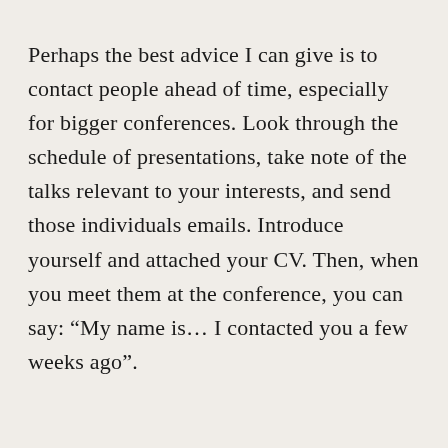Perhaps the best advice I can give is to contact people ahead of time, especially for bigger conferences. Look through the schedule of presentations, take note of the talks relevant to your interests, and send those individuals emails. Introduce yourself and attached your CV. Then, when you meet them at the conference, you can say: “My name is… I contacted you a few weeks ago”.